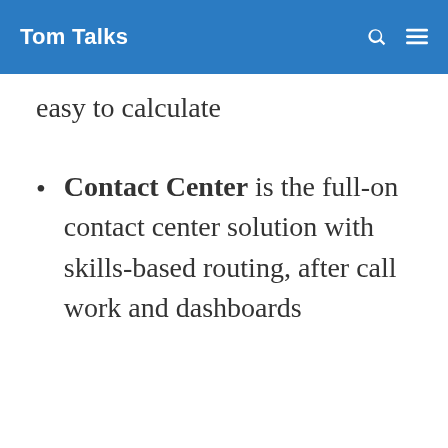Tom Talks
easy to calculate
Contact Center is the full-on contact center solution with skills-based routing, after call work and dashboards